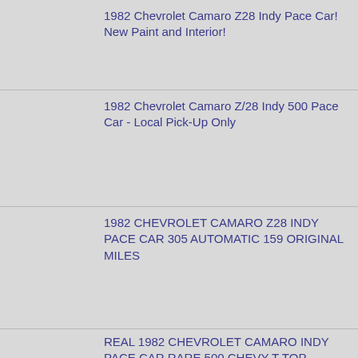1982 Chevrolet Camaro Z28 Indy Pace Car! New Paint and Interior!
1982 Chevrolet Camaro Z/28 Indy 500 Pace Car - Local Pick-Up Only
1982 CHEVROLET CAMARO Z28 INDY PACE CAR 305 AUTOMATIC 159 ORIGINAL MILES
REAL 1982 CHEVROLET CAMARO INDY PACE CAR RARE 500 CHEVY T TOP